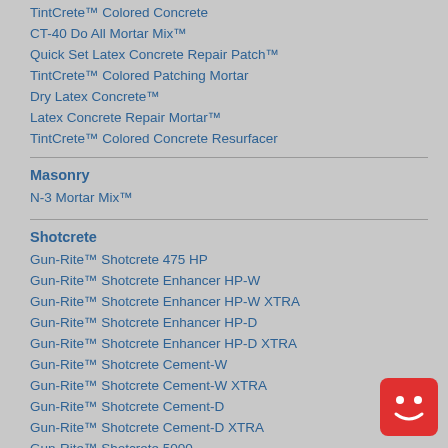TintCrete™ Colored Concrete
CT-40 Do All Mortar Mix™
Quick Set Latex Concrete Repair Patch™
TintCrete™ Colored Patching Mortar
Dry Latex Concrete™
Latex Concrete Repair Mortar™
TintCrete™ Colored Concrete Resurfacer
Masonry
N-3 Mortar Mix™
Shotcrete
Gun-Rite™ Shotcrete 475 HP
Gun-Rite™ Shotcrete Enhancer HP-W
Gun-Rite™ Shotcrete Enhancer HP-W XTRA
Gun-Rite™ Shotcrete Enhancer HP-D
Gun-Rite™ Shotcrete Enhancer HP-D XTRA
Gun-Rite™ Shotcrete Cement-W
Gun-Rite™ Shotcrete Cement-W XTRA
Gun-Rite™ Shotcrete Cement-D
Gun-Rite™ Shotcrete Cement-D XTRA
Gun-Rite™ Shotcrete 5000
Gun-Rite™ Shotcrete 5000 XTRA
[Figure (logo): Red square with rounded corners and a smiley face icon]